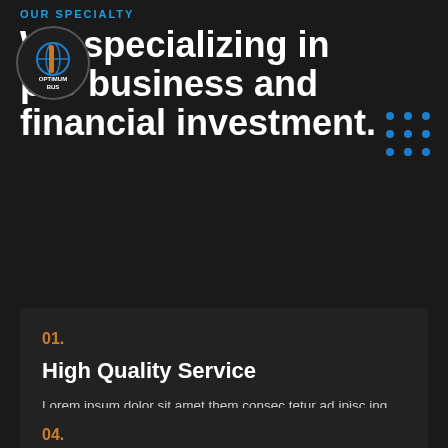OUR SPECIALTY
We specializing in pro business and financial investment.
[Figure (logo): Circular logo with orange and blue globe icon and text 'OPTIMUM BUS' below]
[Figure (other): 3x3 blue dot grid decorative element]
01. High Quality Service — Lorem ipsum dolor sit amet them consectetur ad ipisc ing elit sed do eiumod.
04. 24/7 Client Support